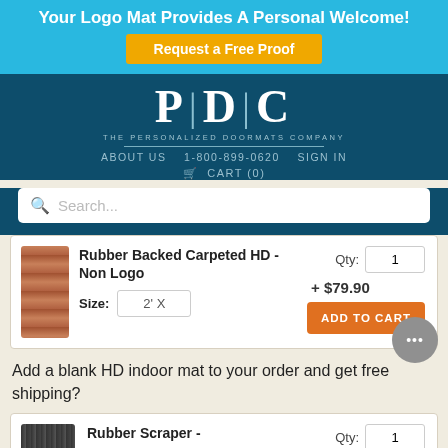Your Logo Mat Provides A Personal Welcome!
Request a Free Proof
[Figure (logo): PDC - The Personalized Doormats Company logo in white on dark teal background]
ABOUT US   1-800-899-0620   SIGN IN
🛒 CART (0)
Search...
Rubber Backed Carpeted HD - Non Logo   + $79.90   Qty: 1   Size: 2' X   ADD TO CART
Add a blank HD indoor mat to your order and get free shipping?
Rubber Scraper -   Qty: 1